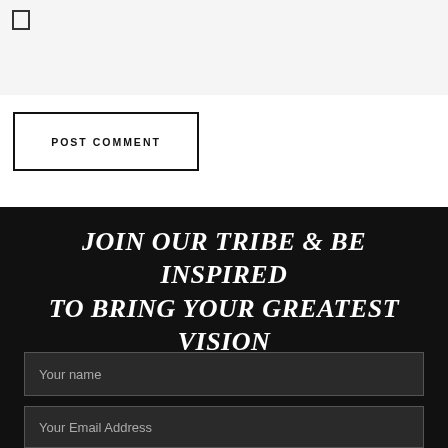[Figure (other): Checkbox input element (empty square checkbox)]
POST COMMENT
JOIN OUR TRIBE & BE INSPIRED TO BRING YOUR GREATEST VISION TO LIFE
Your name
Your Email Address